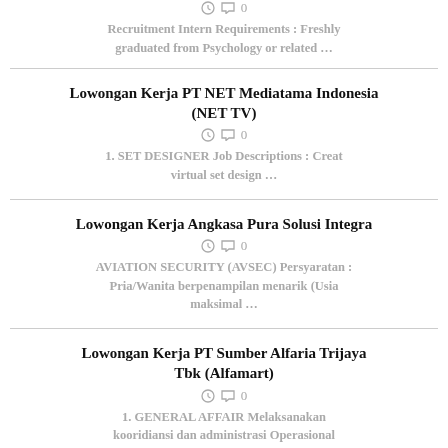Recruitment Intern Requirements : Freshly graduated from Psychology or related …
Lowongan Kerja PT NET Mediatama Indonesia (NET TV)
1. SET DESIGNER Job Descriptions : Creat virtual set design …
Lowongan Kerja Angkasa Pura Solusi Integra
AVIATION SECURITY (AVSEC) Persyaratan : Pria/Wanita berpenampilan menarik (Usia maksimal …
Lowongan Kerja PT Sumber Alfaria Trijaya Tbk (Alfamart)
1. GENERAL AFFAIR Melaksanakan kooridiansi dan administrasi Operasional